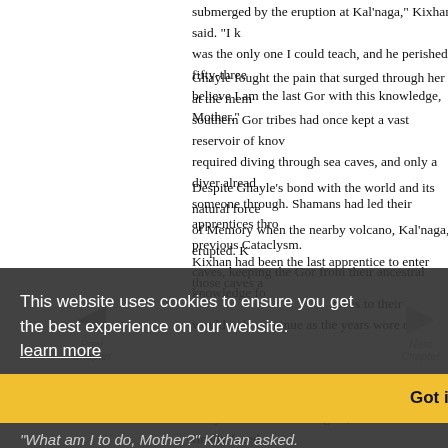submerged by the eruption at Kal'naga," Kixhan said. "I k was the only one I could teach, and he perished fifty-three believe I am the last Gor with this knowledge, Mother."
Ghayle fought the pain that surged through her at the mem southern Gor tribes had once kept a vast reservoir of kno required diving through sea caves, and only a diver alread someone through. Shamans had led their apprentices thro previous Cataclysm.
Despite Ghayle's bond with the world and its natural force of Memory when the nearby volcano, Kal'naga, erupted. K caves, keeping the Gor from their ancestral knowledge fo
Kixhan had been the last apprentice to enter those caves a caves to their would only continue as the years wore on.
"Then you learn more qualified to record our history," C what use I have for you. You will be my Speaker, though all who speak to us, you will act as if I ha e called you as
"What am I to do, Mother?" Kixhan asked.
Ghayle circled Kixhan again, and when she finally faced will be as if I had written it. I will pass on the know